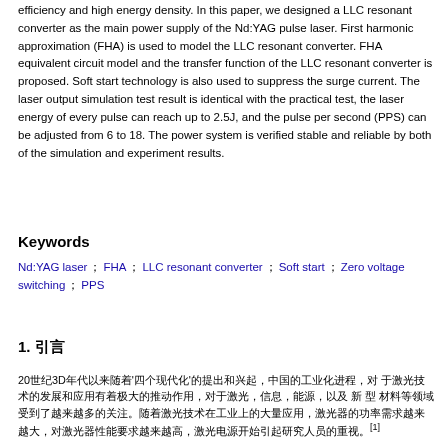efficiency and high energy density. In this paper, we designed a LLC resonant converter as the main power supply of the Nd:YAG pulse laser. First harmonic approximation (FHA) is used to model the LLC resonant converter. FHA equivalent circuit model and the transfer function of the LLC resonant converter is proposed. Soft start technology is also used to suppress the surge current. The laser output simulation test result is identical with the practical test, the laser energy of every pulse can reach up to 2.5J, and the pulse per second (PPS) can be adjusted from 6 to 18. The power system is verified stable and reliable by both of the simulation and experiment results.
Keywords
Nd:YAG laser ; FHA ; LLC resonant converter ; Soft start ; Zero voltage switching ; PPS
1. 引言
20世纪3D年代以来随着"四个现代化"的提出和兴起, 中国的工业化进程, 对 于激光技术的发展和应用有着极大的推动作用, 激光, 信息, 能源, 以及 新 型 材料等领域受到了越来越多的关注。随着...